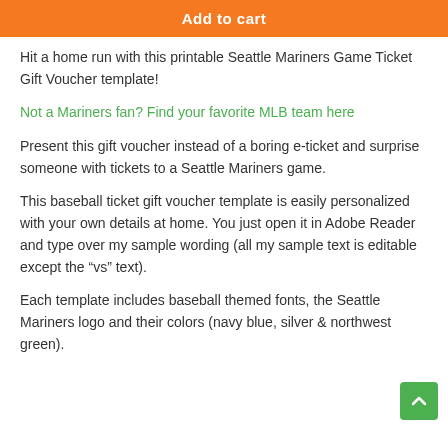Add to cart
Hit a home run with this printable Seattle Mariners Game Ticket Gift Voucher template!
Not a Mariners fan? Find your favorite MLB team here
Present this gift voucher instead of a boring e-ticket and surprise someone with tickets to a Seattle Mariners game.
This baseball ticket gift voucher template is easily personalized with your own details at home. You just open it in Adobe Reader and type over my sample wording (all my sample text is editable except the “vs” text).
Each template includes baseball themed fonts, the Seattle Mariners logo and their colors (navy blue, silver & northwest green).